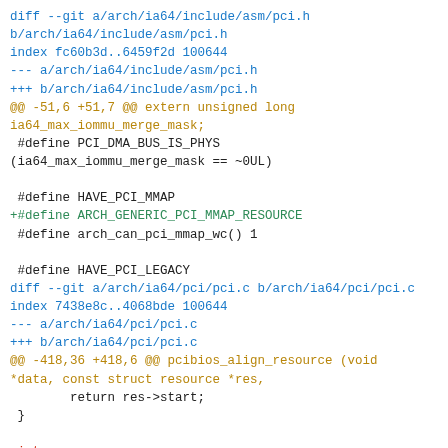[Figure (screenshot): A git diff output showing changes to arch/ia64/include/asm/pci.h and arch/ia64/pci/pci.c files. The diff adds ARCH_GENERIC_PCI_MMAP_RESOURCE define and removes pci_mmap_page_range function.]